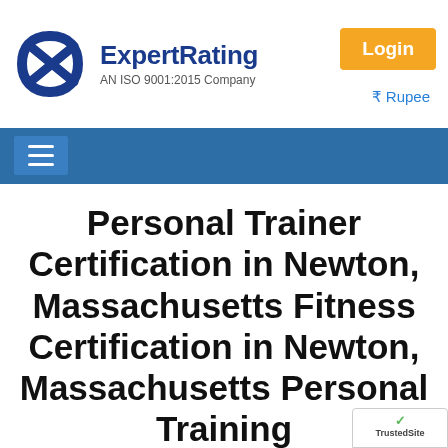[Figure (logo): ExpertRating logo with blue 'E' icon and text 'ExpertRating AN ISO 9001:2015 Company']
Login
₹ Rupee
[Figure (other): Navigation bar with hamburger menu icon on blue background]
Personal Trainer Certification in Newton, Massachusetts Fitness Certification in Newton, Massachusetts Personal Training
[Figure (other): TrustedSite badge partial view in bottom right corner]